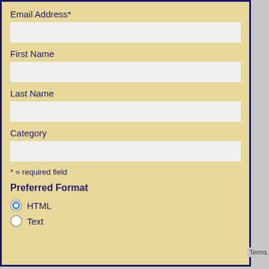Email Address*
First Name
Last Name
Category
* = required field
Preferred Format
HTML (selected)
Text